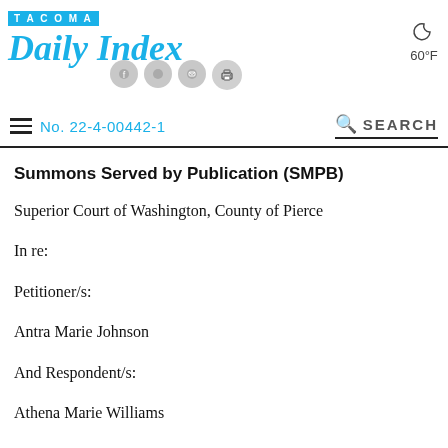TACOMA Daily Index | No. 22-4-00442-1 | 60°F
Summons Served by Publication (SMPB)
Superior Court of Washington, County of Pierce
In re:
Petitioner/s:
Antra Marie Johnson
And Respondent/s:
Athena Marie Williams